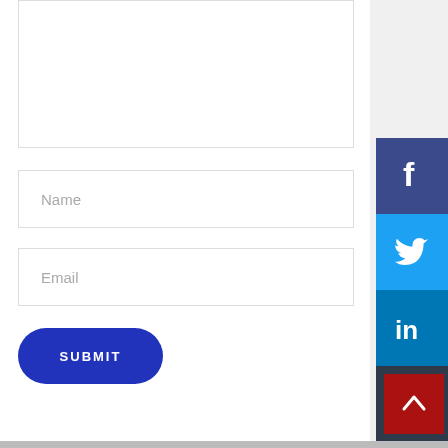[Figure (screenshot): Partially visible textarea input field at the top of a web form]
Name
Email
SUBMIT
[Figure (infographic): Social share sidebar with Facebook, Twitter, LinkedIn, and email icons]
[Figure (other): Back-to-top button with upward chevron arrow on dark red background]